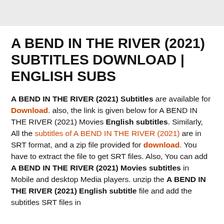A BEND IN THE RIVER (2021) SUBTITLES DOWNLOAD | ENGLISH SUBS
A BEND IN THE RIVER (2021) Subtitles are available for Download. also, the link is given below for A BEND IN THE RIVER (2021) Movies English subtitles. Similarly, All the subtitles of A BEND IN THE RIVER (2021) are in SRT format, and a zip file provided for download. You have to extract the file to get SRT files. Also, You can add A BEND IN THE RIVER (2021) Movies subtitles in Mobile and desktop Media players. unzip the A BEND IN THE RIVER (2021) English subtitle file and add the subtitles SRT files in